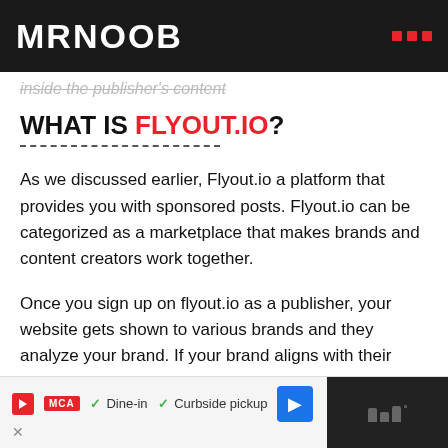MRNOOB
inside the publisher's content
WHAT IS FLYOUT.IO?
As we discussed earlier, Flyout.io a platform that provides you with sponsored posts. Flyout.io can be categorized as a marketplace that makes brands and content creators work together.
Once you sign up on flyout.io as a publisher, your website gets shown to various brands and they analyze your brand. If your brand aligns with their choice of the website then you get an offer with an article
Dine-in  Curbside pickup